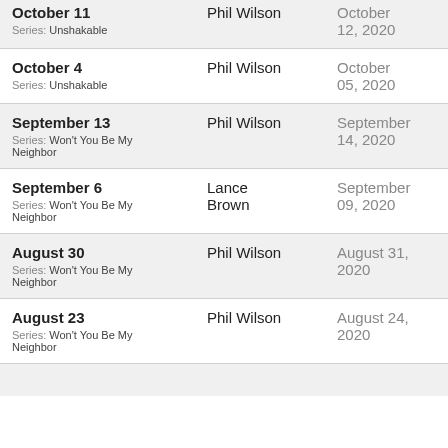| Date | Speaker | Published |
| --- | --- | --- |
| October 11
Series: Unshakable | Phil Wilson | October 12, 2020 |
| October 4
Series: Unshakable | Phil Wilson | October 05, 2020 |
| September 13
Series: Won't You Be My Neighbor | Phil Wilson | September 14, 2020 |
| September 6
Series: Won't You Be My Neighbor | Lance Brown | September 09, 2020 |
| August 30
Series: Won't You Be My Neighbor | Phil Wilson | August 31, 2020 |
| August 23
Series: Won't You Be My Neighbor | Phil Wilson | August 24, 2020 |